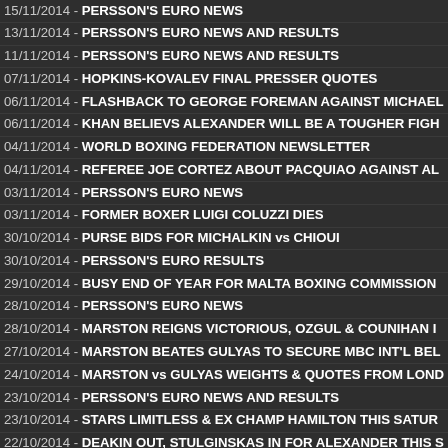15/11/2014 - PERSSON'S EURO NEWS
13/11/2014 - PERSSON'S EURO NEWS AND RESULTS
11/11/2014 - PERSSON'S EURO NEWS AND RESULTS
07/11/2014 - HOPKINS-KOVALEV FINAL PRESSER QUOTES
06/11/2014 - FLASHBACK TO GEORGE FOREMAN AGAINST MICHAEL
06/11/2014 - KHAN BELIEVS ALEXANDER WILL BE A TOUGHER FIGH
04/11/2014 - WORLD BOXING FEDERATION NEWSLETTER
04/11/2014 - REFEREE JOE CORTEZ ABOUT PACQUIAO AGAINST AL
03/11/2014 - PERSSON'S EURO NEWS
03/11/2014 - FORMER BOXER LUIGI COLUZZI DIES
30/10/2014 - PURSE BIDS FOR MICHALKIN vs CHIOUI
30/10/2014 - PERSSON'S EURO RESULTS
29/10/2014 - BUSY END OF YEAR FOR MALTA BOXING COMMISSION
28/10/2014 - PERSSON'S EURO NEWS
28/10/2014 - MARSTON REIGNS VICTORIOUS, OZGUL & COUNIHAN I
27/10/2014 - MARSTON BEATES GULYAS TO SECURE MBC INT'L BEL
24/10/2014 - MARSTON vs GULYAS WEIGHTS & QUOTES FROM LOND
23/10/2014 - PERSSON'S EURO NEWS AND RESULTS
23/10/2014 - STARS LIMITLESS & EX CHAMP HAMILTON THIS SATUR
22/10/2014 - DEAKIN OUT, STULGINSKAS IN FOR ALEXANDER THIS S
21/10/2014 - DECASTRO MAKES HIS THIRD OUTING 25TH OCTOBER
21/10/2014 - MARSTON RECEIVES AN INVITATION TO CHALLENGE O'
20/10/2014 - WORLD BOXING FEDERATION NEWSLETTER
20/10/2014 - CAPITAL PUNISHMENT IN BETHNAL GREEN 25TH OCTO
20/10/2014 - JEROME HAYWOOD, NEW PROSPECT FROM TRAD TKO
18/10/2014 - ROCK WITH PUNCH, OCT 25TH TITLE FIGHT